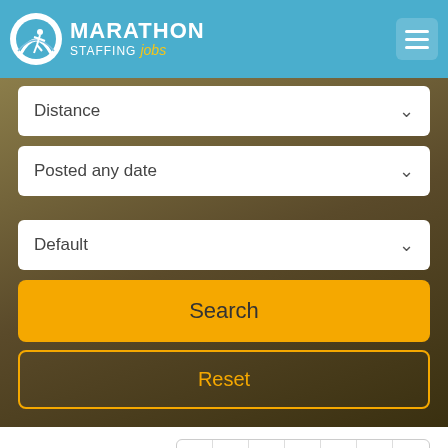MARATHON STAFFING jobs
Distance
Posted any date
Default
Search
Reset
61 to 80 of 534
1 .. 3 4 5 .. 27
General Labor 2nd Shift